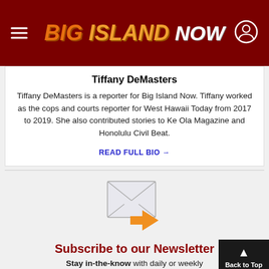BIG ISLAND NOW
Tiffany DeMasters
Tiffany DeMasters is a reporter for Big Island Now. Tiffany worked as the cops and courts reporter for West Hawaii Today from 2017 to 2019. She also contributed stories to Ke Ola Magazine and Honolulu Civil Beat.
READ FULL BIO →
[Figure (illustration): Email/newsletter envelope icon with orange arrow]
Subscribe to our Newsletter
Stay in-the-know with daily or weekly headlines delivered straight to your inbox